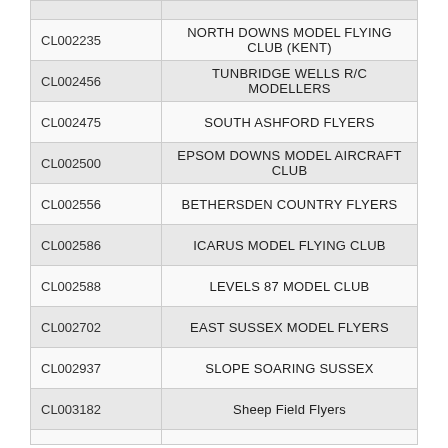| Code | Name |
| --- | --- |
| CL002235 | NORTH DOWNS MODEL FLYING CLUB (KENT) |
| CL002456 | TUNBRIDGE WELLS R/C MODELLERS |
| CL002475 | SOUTH ASHFORD FLYERS |
| CL002500 | EPSOM DOWNS MODEL AIRCRAFT CLUB |
| CL002556 | BETHERSDEN COUNTRY FLYERS |
| CL002586 | ICARUS MODEL FLYING CLUB |
| CL002588 | LEVELS 87 MODEL CLUB |
| CL002702 | EAST SUSSEX MODEL FLYERS |
| CL002937 | SLOPE SOARING SUSSEX |
| CL003182 | Sheep Field Flyers |